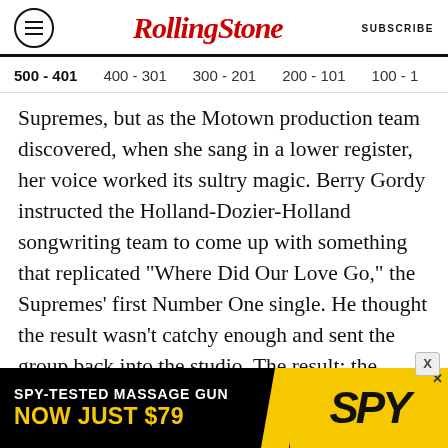RollingStone — SUBSCRIBE
500 - 401 | 400 - 301 | 300 - 201 | 200 - 101 | 100 - 1
Supremes, but as the Motown production team discovered, when she sang in a lower register, her voice worked its sultry magic. Berry Gordy instructed the Holland-Dozier-Holland songwriting team to come up with something that replicated “Where Did Our Love Go,” the Supremes’ first Number One single. He thought the result wasn’t catchy enough and sent the group back into the studio. The result: the smoky “Oooooh” at the start. “Baby Love” went to Number One too, the first time a Motown group had topped the charts
[Figure (other): Advertisement banner: SPY-TESTED MASSAGE GUN NOW JUST $79 with SPY logo on yellow background]